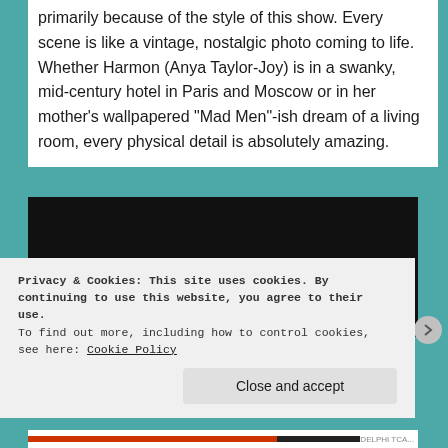primarily because of the style of this show. Every scene is like a vintage, nostalgic photo coming to life. Whether Harmon (Anya Taylor-Joy) is in a swanky, mid-century hotel in Paris and Moscow or in her mother's wallpapered "Mad Men"-ish dream of a living room, every physical detail is absolutely amazing.
[Figure (screenshot): Dark video player showing 'This video is private' message with a circular info icon]
Privacy & Cookies: This site uses cookies. By continuing to use this website, you agree to their use.
To find out more, including how to control cookies, see here: Cookie Policy
Close and accept